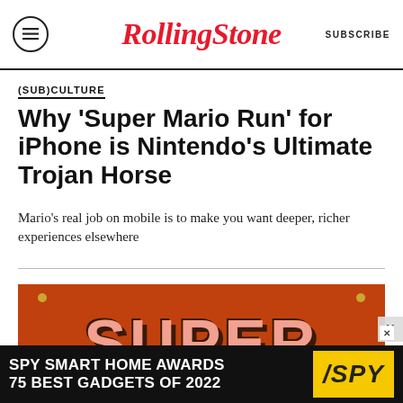RollingStone | SUBSCRIBE
(SUB)CULTURE
Why 'Super Mario Run' for iPhone is Nintendo's Ultimate Trojan Horse
Mario's real job on mobile is to make you want deeper, richer experiences elsewhere
[Figure (illustration): Orange background image with bold retro-styled text reading 'SUPER MORRISSEY' in pink/salmon letters with dark brown shadow, pinned poster style with gold pin dots in corners.]
SPY SMART HOME AWARDS 75 BEST GADGETS OF 2022